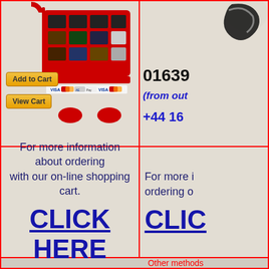[Figure (illustration): Red shopping cart with product images inside, Add to Cart and View Cart buttons, payment method logos (Visa, Mastercard, PayPal)]
[Figure (illustration): Black telephone/phone icon in upper right, phone number 01639... and +44 16... with (from out...) text]
For more information about ordering with our on-line shopping cart.
CLICK HERE
For more information about ordering o...
CLICK
Other methods
CLICK
.......for mo